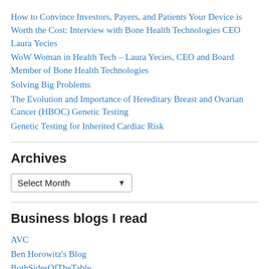How to Convince Investors, Payers, and Patients Your Device is Worth the Cost: Interview with Bone Health Technologies CEO Laura Yecies
WoW Woman in Health Tech – Laura Yecies, CEO and Board Member of Bone Health Technologies
Solving Big Problems
The Evolution and Importance of Hereditary Breast and Ovarian Cancer (HBOC) Genetic Testing
Genetic Testing for Inherited Cardiac Risk
Archives
[Figure (other): Select Month dropdown widget]
Business blogs I read
AVC
Ben Horowitz's Blog
BothSidesOfTheTable